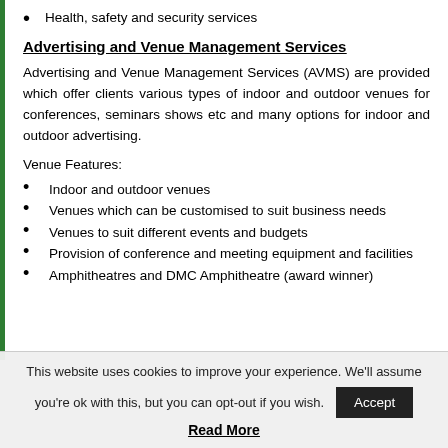Health, safety and security services
Advertising and Venue Management Services
Advertising and Venue Management Services (AVMS) are provided which offer clients various types of indoor and outdoor venues for conferences, seminars shows etc and many options for indoor and outdoor advertising.
Venue Features:
Indoor and outdoor venues
Venues which can be customised to suit business needs
Venues to suit different events and budgets
Provision of conference and meeting equipment and facilities
Amphitheatres and DMC Amphitheatre (award winner)
This website uses cookies to improve your experience. We'll assume you're ok with this, but you can opt-out if you wish. Accept
Read More